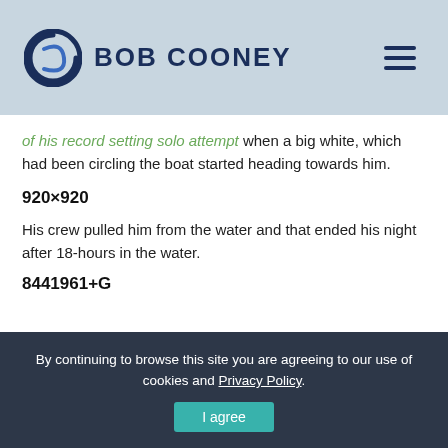BOB COONEY
of his record setting solo attempt when a big white, which had been circling the boat started heading towards him.
920×920
His crew pulled him from the water and that ended his night after 18-hours in the water.
8441961+G
By continuing to browse this site you are agreeing to our use of cookies and Privacy Policy.